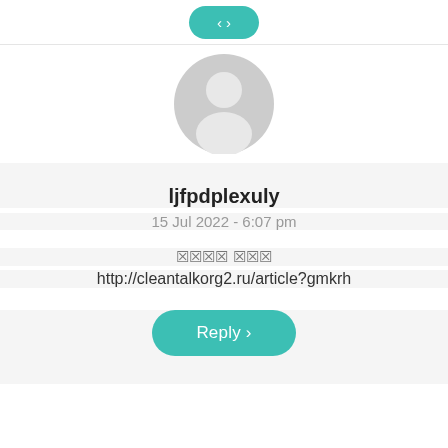[Figure (illustration): Teal/green Reply button (partially visible at top of page)]
[Figure (illustration): Generic user avatar: gray circle with stylized person silhouette]
ljfpdplexuly
15 Jul 2022 - 6:07 pm
🔲🔲🔲🔲 🔲🔲🔲
http://cleantalkorg2.ru/article?gmkrh
[Figure (illustration): Teal/green Reply button]